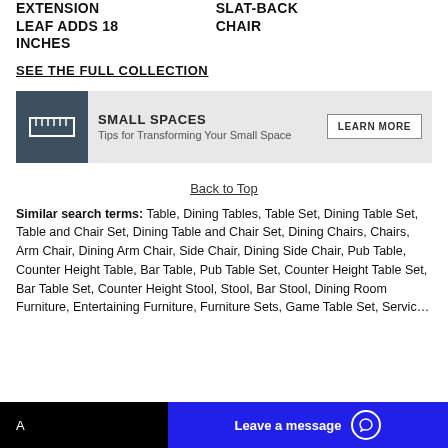EXTENSION LEAF ADDS 18 INCHES
SLAT-BACK CHAIR
SEE THE FULL COLLECTION
[Figure (infographic): Small Spaces banner with ruler icon, title 'SMALL SPACES', subtitle 'Tips for Transforming Your Small Space', and a 'LEARN MORE' button]
Back to Top
Similar search terms: Table, Dining Tables, Table Set, Dining Table Set, Table and Chair Set, Dining Table and Chair Set, Dining Chairs, Chairs, Arm Chair, Dining Arm Chair, Side Chair, Dining Side Chair, Pub Table, Counter Height Table, Bar Table, Pub Table Set, Counter Height Table Set, Bar Table Set, Counter Height Stool, Stool, Bar Stool, Dining Room Furniture, Entertaining Furniture, Furniture Sets, Game Table Set, Gaming
Leave a message